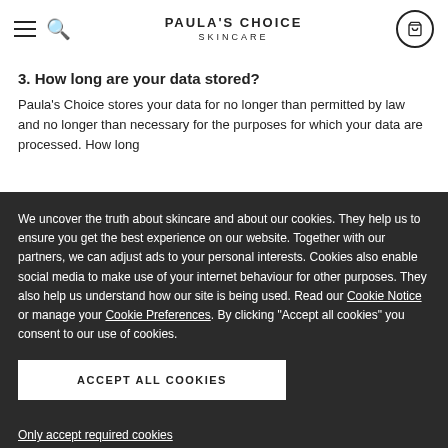PAULA'S CHOICE SKINCARE
3. How long are your data stored?
Paula's Choice stores your data for no longer than permitted by law and no longer than necessary for the purposes for which your data are processed. How long
We uncover the truth about skincare and about our cookies. They help us to ensure you get the best experience on our website. Together with our partners, we can adjust ads to your personal interests. Cookies also enable social media to make use of your internet behaviour for other purposes. They also help us understand how our site is being used. Read our Cookie Notice or manage your Cookie Preferences. By clicking "Accept all cookies" you consent to our use of cookies.
ACCEPT ALL COOKIES
Only accept required cookies